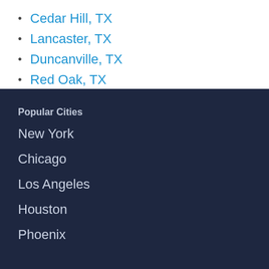Cedar Hill, TX
Lancaster, TX
Duncanville, TX
Red Oak, TX
Popular Cities
New York
Chicago
Los Angeles
Houston
Phoenix